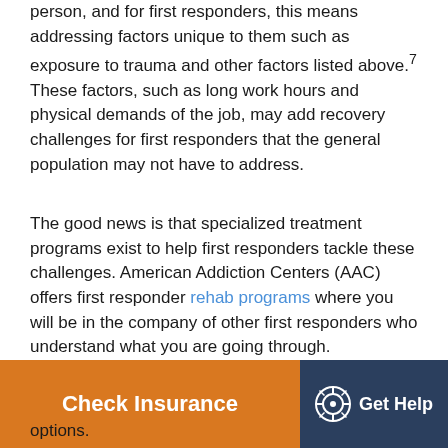person, and for first responders, this means addressing factors unique to them such as exposure to trauma and other factors listed above.7 These factors, such as long work hours and physical demands of the job, may add recovery challenges for first responders that the general population may not have to address.
The good news is that specialized treatment programs exist to help first responders tackle these challenges. American Addiction Centers (AAC) offers first responder rehab programs where you will be in the company of other first responders who understand what you are going through.
If you or a loved one are a first responder struggling with addiction, know that you don't have to go through [it alone. AAC can help you explore your treatment] options.